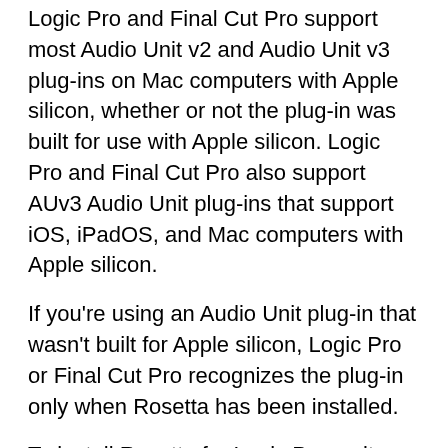Logic Pro and Final Cut Pro support most Audio Unit v2 and Audio Unit v3 plug-ins on Mac computers with Apple silicon, whether or not the plug-in was built for use with Apple silicon. Logic Pro and Final Cut Pro also support AUv3 Audio Unit plug-ins that support iOS, iPadOS, and Mac computers with Apple silicon.
If you're using an Audio Unit plug-in that wasn't built for Apple silicon, Logic Pro or Final Cut Pro recognizes the plug-in only when Rosetta has been installed.
To install Rosetta for Logic Pro, quit Logic Pro and follow these steps:
From the Finder menu bar, choose Go > Go to Folder.
Type "/System/Library/CoreServices/Rosetta2